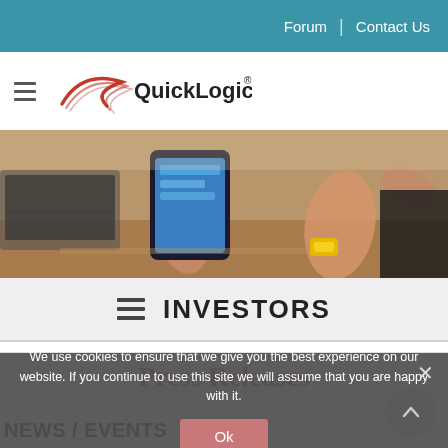Forum | Contact Us
[Figure (logo): QuickLogic company logo with hamburger menu icon]
[Figure (photo): Hero image showing hands using smartphones and tablets with a laptop in the background]
≡ INVESTORS
Press Releases
We use cookies to ensure that we give you the best experience on our website. If you continue to use this site we will assume that you are happy with it.
Ok
NEWS / EVENTS